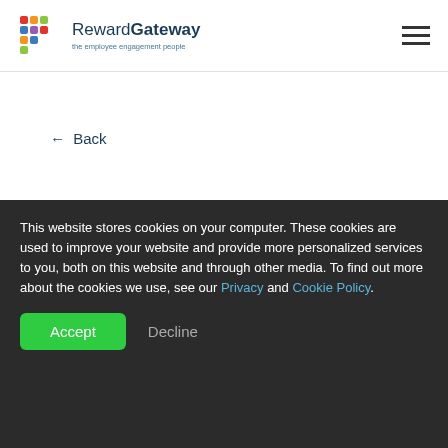Reward Gateway — the employee engagement people
← Back
Employee Reward and Recognition
This website stores cookies on your computer. These cookies are used to improve your website and provide more personalized services to you, both on this website and through other media. To find out more about the cookies we use, see our Privacy and Cookie Policy.